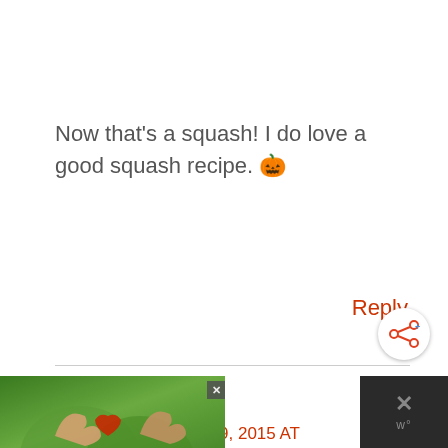Now that's a squash! I do love a good squash recipe. 🎃
Reply
KIRA T
SEPTEMBER 29, 2015 AT 9:23 PM
[Figure (infographic): Advertisement banner at bottom: 'LOVE > HATE' with hands forming a heart shape on green background, close button, and dark right panel with X and W° icons]